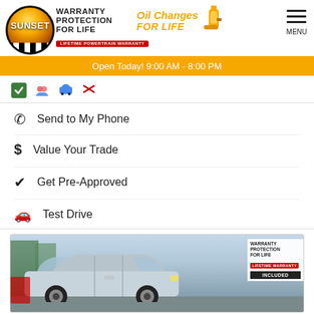Sunset Warranty Protection For Life | Oil Changes For Life | Open Today! 9:00 AM - 8:00 PM | MENU
Send to My Phone
Value Your Trade
Get Pre-Approved
Test Drive
[Figure (photo): Silver Chevrolet Equinox SUV in a dealership lot with Warranty Protection For Life INCLUDED badge overlay]